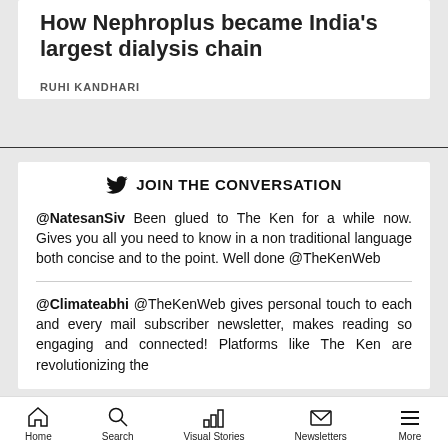How Nephroplus became India's largest dialysis chain
RUHI KANDHARI
JOIN THE CONVERSATION
@NatesanSiv Been glued to The Ken for a while now. Gives you all you need to know in a non traditional language both concise and to the point. Well done @TheKenWeb
@Climateabhi @TheKenWeb gives personal touch to each and every mail subscriber newsletter, makes reading so engaging and connected! Platforms like The Ken are revolutionizing the
Home  Search  Visual Stories  Newsletters  More